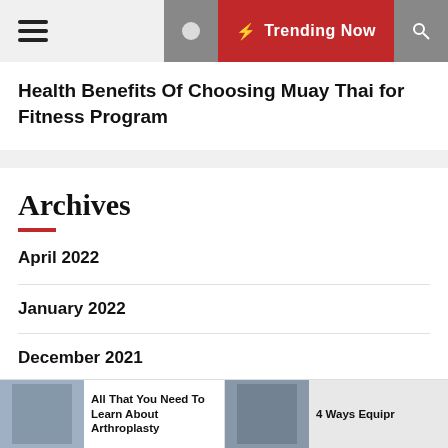Trending Now
Health Benefits Of Choosing Muay Thai for Fitness Program
Archives
April 2022
January 2022
December 2021
September 2021
All That You Need To Learn About Arthroplasty | 4 Ways Equipr
All That You Need To Learn About Arthroplasty
4 Ways Equipr